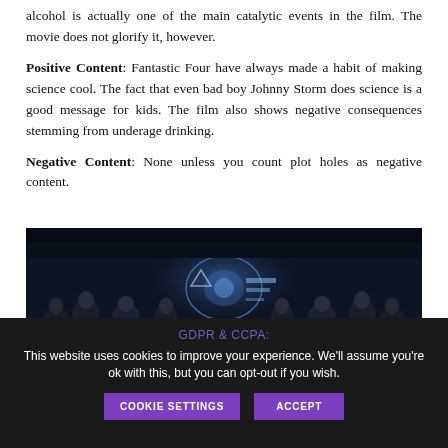alcohol is actually one of the main catalytic events in the film. The movie does not glorify it, however.
Positive Content: Fantastic Four have always made a habit of making science cool. The fact that even bad boy Johnny Storm does science is a good message for kids. The film also shows negative consequences stemming from underage drinking.
Negative Content: None unless you count plot holes as negative content.
[Figure (photo): Dark scene showing military or official figures seated around a long conference table with a glowing holographic display in the center.]
GDPR & CCPA:
This website uses cookies to improve your experience. We'll assume you're ok with this, but you can opt-out if you wish.
COOKIE SETTINGS   ACCEPT